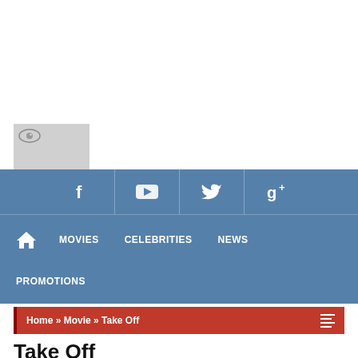[Figure (logo): Website logo image with small eye/camera icon in top-left corner, gray placeholder box]
Navigation bar with social icons (Facebook, YouTube, Twitter, Google+) and menu links: MOVIES, CELEBRITIES, NEWS, PROMOTIONS
Home » Movie » Take Off
Take Off